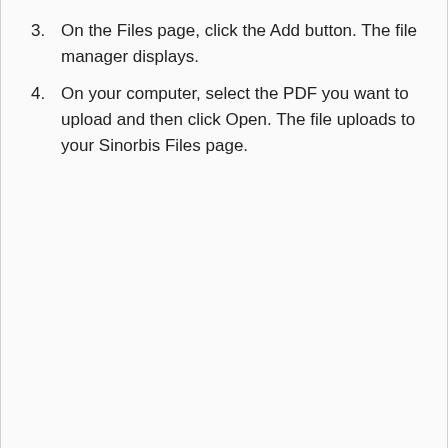3. On the Files page, click the Add button. The file manager displays.
4. On your computer, select the PDF you want to upload and then click Open. The file uploads to your Sinorbis Files page.